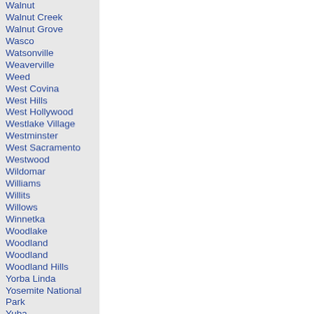Walnut
Walnut Creek
Walnut Grove
Wasco
Watsonville
Weaverville
Weed
West Covina
West Hills
West Hollywood
Westlake Village
Westminster
West Sacramento
Westwood
Wildomar
Williams
Willits
Willows
Winnetka
Woodlake
Woodland
Woodland
Woodland Hills
Yorba Linda
Yosemite National Park
Yuba
Yucaipa
Yucca Valley
» Colorado
» Idaho
» Montana
» Nevada